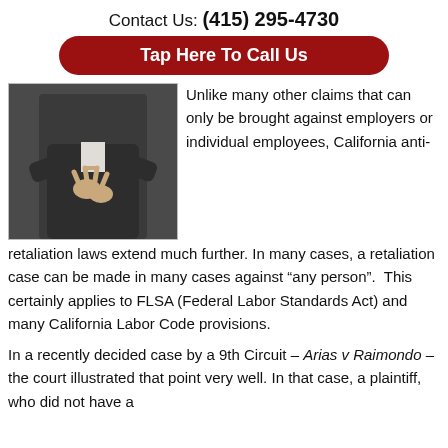Contact Us: (415) 295-4730
Tap Here To Call Us
[Figure (photo): Person in dark suit with fingers crossed behind their back, suggesting deception.]
Unlike many other claims that can only be brought against employers or individual employees, California anti-retaliation laws extend much further. In many cases, a retaliation case can be made in many cases against “any person”.  This certainly applies to FLSA (Federal Labor Standards Act) and many California Labor Code provisions.
In a recently decided case by a 9th Circuit – Arias v Raimondo – the court illustrated that point very well. In that case, a plaintiff, who did not have a